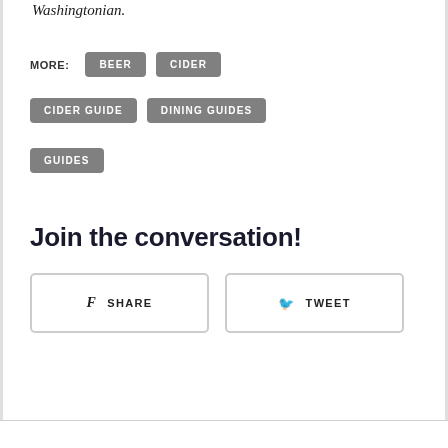Washingtonian.
MORE: BEER CIDER CIDER GUIDE DINING GUIDES GUIDES
Join the conversation!
SHARE   TWEET